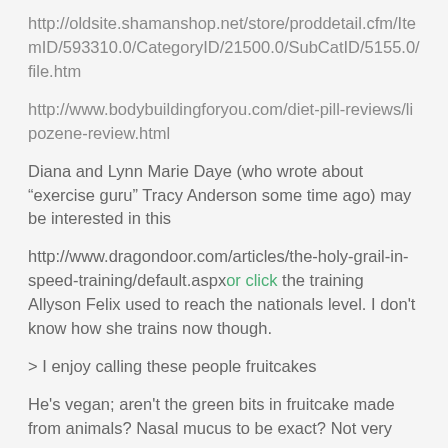http://oldsite.shamanshop.net/store/proddetail.cfm/ItemID/593310.0/CategoryID/21500.0/SubCatID/5155.0/file.htm
http://www.bodybuildingforyou.com/diet-pill-reviews/lipozene-review.html
Diana and Lynn Marie Daye (who wrote about "exercise guru" Tracy Anderson some time ago) may be interested in this
http://www.dragondoor.com/articles/the-holy-grail-in-speed-training/default.aspxor click the training Allyson Felix used to reach the nationals level. I don't know how she trains now though.
> I enjoy calling these people fruitcakes
He's vegan; aren't the green bits in fruitcake made from animals? Nasal mucus to be exact? Not very vegan.